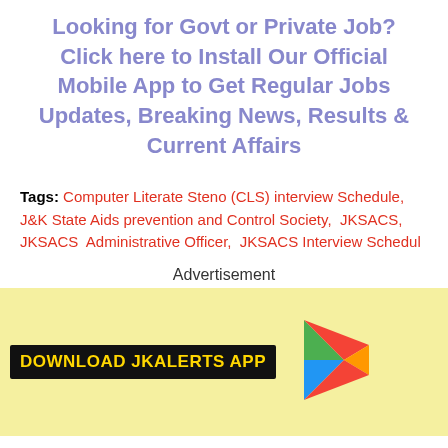Looking for Govt or Private Job? Click here to Install Our Official Mobile App to Get Regular Jobs Updates, Breaking News, Results & Current Affairs
Tags: Computer Literate Steno (CLS) interview Schedule,  J&K State Aids prevention and Control Society,  JKSACS,  JKSACS  Administrative Officer,  JKSACS Interview Schedul
Advertisement
[Figure (infographic): Yellow banner with 'DOWNLOAD JKALERTS APP' text in gold on black background, with a Google Play triangle logo icon in red, green, and blue.]